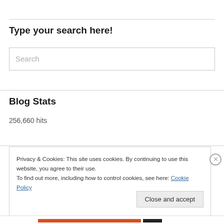Type your search here!
Search
Blog Stats
256,660 hits
Privacy & Cookies: This site uses cookies. By continuing to use this website, you agree to their use.
To find out more, including how to control cookies, see here: Cookie Policy
Close and accept